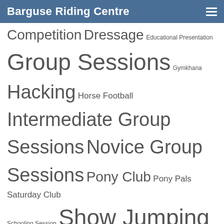Barguse Riding Centre
Competition Dressage Educational Presentation Group Sessions Gymkhana Hacking Horse Football Intermediate Group Sessions Novice Group Sessions Pony Club Pony Pals Saturday Club Schooling Session Show Jumping Take Back the Reins Training Clinic Working Equitation Clinic XC Training
Blog
July 2022
August 2021
May 2021
April 2021
March 2021
February 2021
October 2020